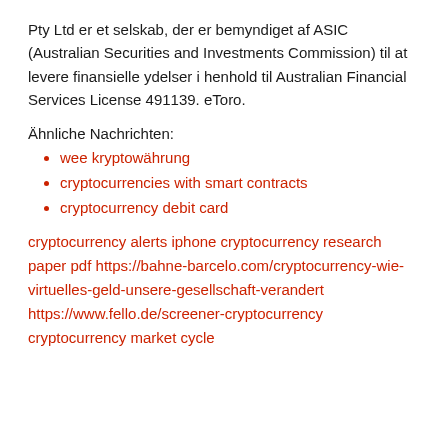Pty Ltd er et selskab, der er bemyndiget af ASIC (Australian Securities and Investments Commission) til at levere finansielle ydelser i henhold til Australian Financial Services License 491139. eToro.
Ähnliche Nachrichten:
wee kryptowährung
cryptocurrencies with smart contracts
cryptocurrency debit card
cryptocurrency alerts iphone cryptocurrency research paper pdf https://bahne-barcelo.com/cryptocurrency-wie-virtuelles-geld-unsere-gesellschaft-verandert https://www.fello.de/screener-cryptocurrency cryptocurrency market cycle